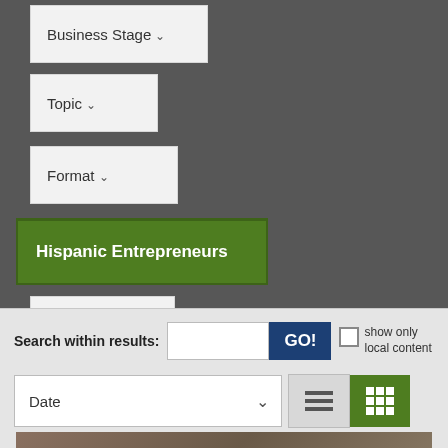[Figure (screenshot): Website filter interface showing dropdown menus for Business Stage, Topic, Format, Hispanic Entrepreneurs (selected/highlighted in green), Industry, and Language filters, followed by a search bar with GO button, show only local content checkbox, Date sort dropdown, and list/grid view toggle buttons. Bottom portion shows start of a photo.]